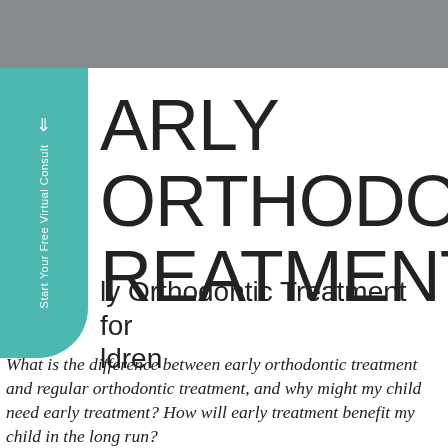[Figure (other): Gray header bar at top of page]
[Figure (other): Teal rounded sidebar tab with rotated text 'Start Your Free Virtual Consult' and arrow icon]
EARLY ORTHODONTIC TREATMENT
Early Orthodontic Treatment for Children
What is the difference between early orthodontic treatment and regular orthodontic treatment, and why might my child need early treatment? How will early treatment benefit my child in the long run?